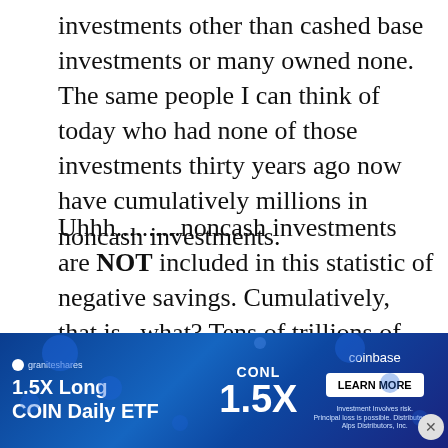investments other than cashed base investments or many owned none. The same people I can think of today who had none of those investments thirty years ago now have cumulatively millions in noncash investments.
Uhhh..........noncash investments are NOT included in this statistic of negative savings. Cumulatively, that is...what? Tens of trillions of dollars? Will the consumer slow down spending? I think they already have. Because they are uneasy. Not because they are broke. The only way I will ever believe this statistic
is a mad rush of massive bankruptcies
[Figure (infographic): Advertisement banner for GraniteShares 1.5X Long COIN Daily ETF (CONL) with Coinbase branding, featuring a blue gradient background with decorative dots and circles. Shows '1.5X Long COIN Daily ETF', 'CONL 1.5X', Coinbase logo, and a 'LEARN MORE' button.]